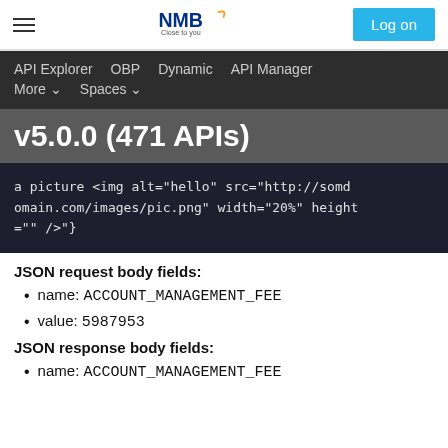NMB — Log on
API Explorer   OBP   Dynamic   API Manager   More   Spaces
v5.0.0 (471 APIs)
a picture <img alt="hello" src="http://somedomain.com/images/pic.png" width="20%" height="" />"}
JSON request body fields:
name: ACCOUNT_MANAGEMENT_FEE
value: 5987953
JSON response body fields:
name: ACCOUNT_MANAGEMENT_FEE